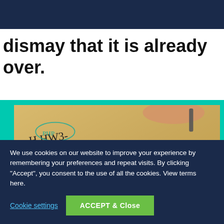dismay that it is already over.
[Figure (photo): Close-up photo of handwritten notes on yellow paper, with a hand holding a pen visible at top right. Text is written in both black and red ink.]
We use cookies on our website to improve your experience by remembering your preferences and repeat visits. By clicking “Accept”, you consent to the use of all the cookies. View terms here.
Cookie settings
ACCEPT & Close